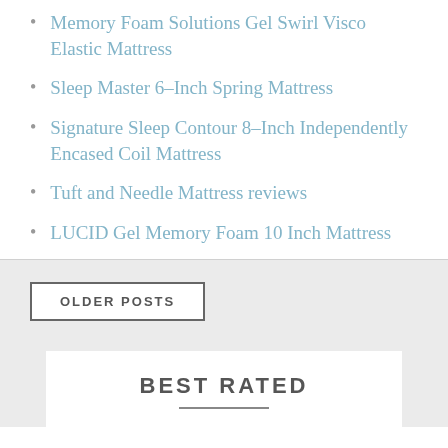Memory Foam Solutions Gel Swirl Visco Elastic Mattress
Sleep Master 6–Inch Spring Mattress
Signature Sleep Contour 8–Inch Independently Encased Coil Mattress
Tuft and Needle Mattress reviews
LUCID Gel Memory Foam 10 Inch Mattress
OLDER POSTS
BEST RATED